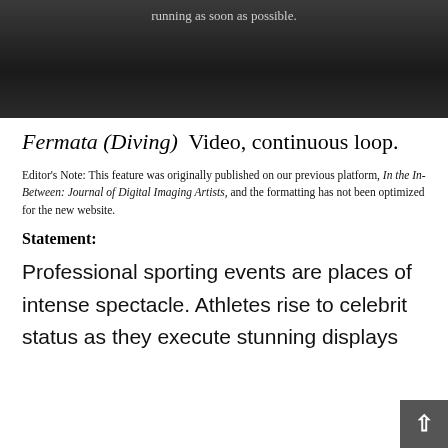[Figure (screenshot): Dark gradient video player area with light gray text reading 'running as soon as possible.']
Fermata (Diving)  Video, continuous loop.
Editor's Note: This feature was originally published on our previous platform, In the In-Between: Journal of Digital Imaging Artists, and the formatting has not been optimized for the new website.
Statement:
Professional sporting events are places of intense spectacle. Athletes rise to celebrity status as they execute stunning displays.